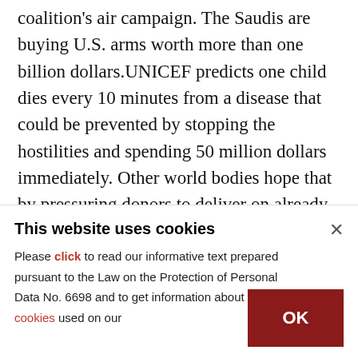coalition's air campaign. The Saudis are buying U.S. arms worth more than one billion dollars.UNICEF predicts one child dies every 10 minutes from a disease that could be prevented by stopping the hostilities and spending 50 million dollars immediately. Other world bodies hope that by pressuring donors to deliver on already pledged resources and by supporting humanitarian advocacy efforts to protect and promote access to health and other essential commodities and services, cholera can be stopped
This website uses cookies
Please click to read our informative text prepared pursuant to the Law on the Protection of Personal Data No. 6698 and to get information about the cookies used on our